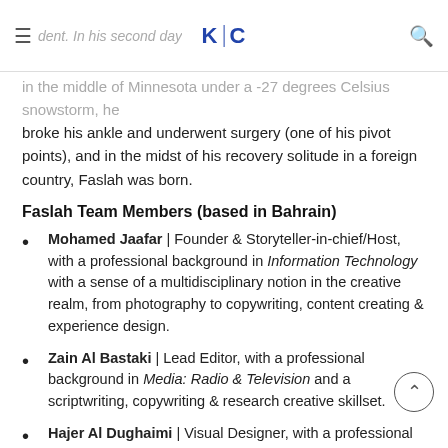KC
dent. In his second day in the middle of Minnesota under a -27 degrees Celsius snowstorm, he broke his ankle and underwent surgery (one of his pivot points), and in the midst of his recovery solitude in a foreign country, Faslah was born.
Faslah Team Members (based in Bahrain)
Mohamed Jaafar | Founder & Storyteller-in-chief/Host, with a professional background in Information Technology with a sense of a multidisciplinary notion in the creative realm, from photography to copywriting, content creating & experience design.
Zain Al Bastaki | Lead Editor, with a professional background in Media: Radio & Television and a scriptwriting, copywriting & research creative skillset.
Hajer Al Dughaimi | Visual Designer, with a professional